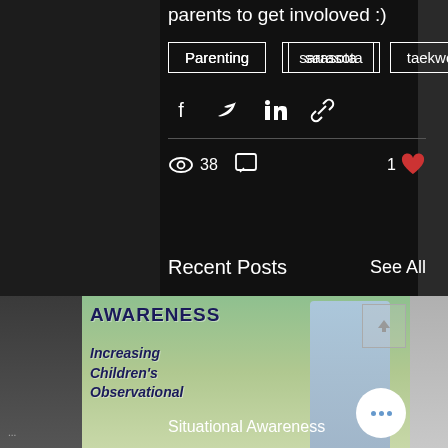parents to get involoved :)
Parenting
sarasota
taekwondo
[Figure (infographic): Social share icons: Facebook, Twitter, LinkedIn, link]
38 views, 1 like
Recent Posts
See All
[Figure (infographic): Blog thumbnail showing child looking at phone with text AWARENESS / Increasing Children's Observational]
Situational Awareness